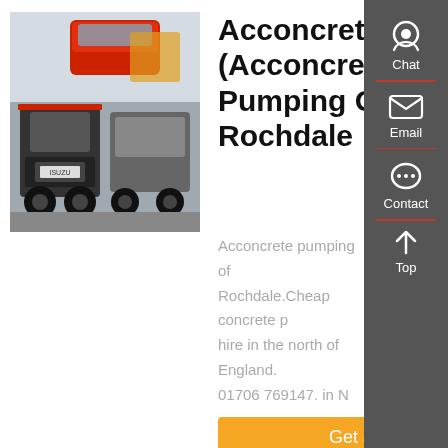[Figure (photo): Rear view of large trucks/lorries in a yard with construction equipment in background]
Acconcretepumping. (Acconcrete Pumping Of Rochdale
Acconcrete pumping of Rochdale.Cheap concrete pump hire in the north of England. 01706 769147. in N
Get a Quote
[Figure (photo): Engine compartment / mechanical components of a concrete pump truck, viewed from above]
Technic Concrete Pumping - Mobile Concrete Pumps Hire Pump